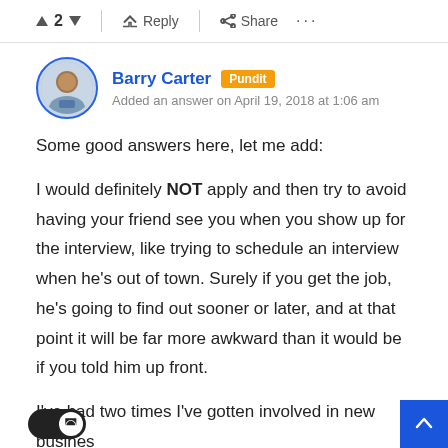▲ 2 ▼  ← Reply  < Share  ...
[Figure (photo): Circular avatar photo of Barry Carter with blue border]
Barry Carter  Pundit
Added an answer on April 19, 2018 at 1:06 am
Some good answers here, let me add:
I would definitely NOT apply and then try to avoid having your friend see you when you show up for the interview, like trying to schedule an interview when he's out of town. Surely if you get the job, he's going to find out sooner or later, and at that point it will be far more awkward than it would be if you told him up front.
I've had two times I've gotten involved in new businesses by friends, and both times it ended badly. No